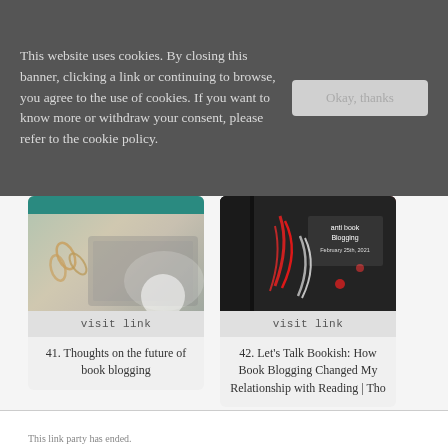This website uses cookies. By closing this banner, clicking a link or continuing to browse, you agree to the use of cookies. If you want to know more or withdraw your consent, please refer to the cookie policy.
Okay, thanks
[Figure (photo): Blog card image showing laptop with paper clips and stationery on a desk]
visit link
41. Thoughts on the future of book blogging
[Figure (photo): Blog card image with decorative feathers and text: anti book Blogging, February 25th, 2021]
visit link
42. Let's Talk Bookish: How Book Blogging Changed My Relationship with Reading | Tho
This link party has ended.